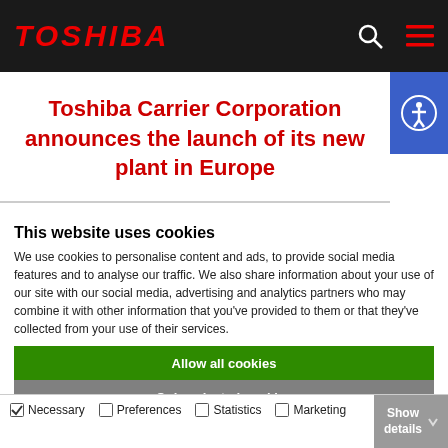TOSHIBA
Toshiba Carrier Corporation announces the launch of its new plant in Europe
This website uses cookies
We use cookies to personalise content and ads, to provide social media features and to analyse our traffic. We also share information about your use of our site with our social media, advertising and analytics partners who may combine it with other information that you've provided to them or that they've collected from your use of their services.
Allow all cookies
Only selected cookies
Use necessary cookies only
Necessary  Preferences  Statistics  Marketing  Show details